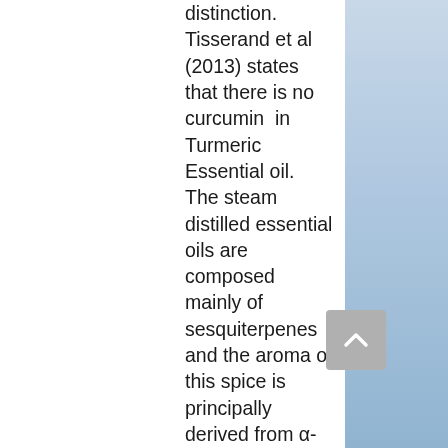distinction. Tisserand et al (2013) states that there is no curcumin in Turmeric Essential oil. The steam distilled essential oils are composed mainly of sesquiterpenes and the aroma of this spice is principally derived from α- and β-turmerones or aromatic turmerone (Ar-turmerone). It is mainly made up of sesquiterpenes, which means its aroma will hand around longer and it will more likely affect the parasympathetic nervous system and have a more relaxing effect. What is clear from my research is that constituents will change depending on the usual conditions of cultivar, time of harvest, treatment and environmental conditions during